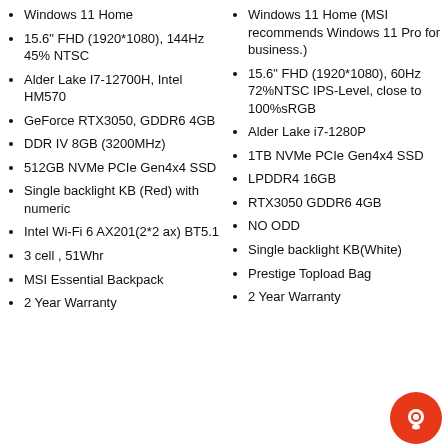Windows 11 Home
15.6" FHD (1920*1080), 144Hz 45% NTSC
Alder Lake I7-12700H, Intel HM570
GeForce RTX3050, GDDR6 4GB
DDR IV 8GB (3200MHz)
512GB NVMe PCIe Gen4x4 SSD
Single backlight KB (Red) with numeric
Intel Wi-Fi 6 AX201(2*2 ax) BT5.1
3 cell , 51Whr
MSI Essential Backpack
2 Year Warranty
Windows 11 Home (MSI recommends Windows 11 Pro for business.)
15.6" FHD (1920*1080), 60Hz 72%NTSC IPS-Level, close to 100%sRGB
Alder Lake i7-1280P
1TB NVMe PCIe Gen4x4 SSD
LPDDR4 16GB
RTX3050 GDDR6 4GB
NO ODD
Single backlight KB(White)
Prestige Topload Bag
2 Year Warranty
[Figure (illustration): Orange circular chat/support button icon]